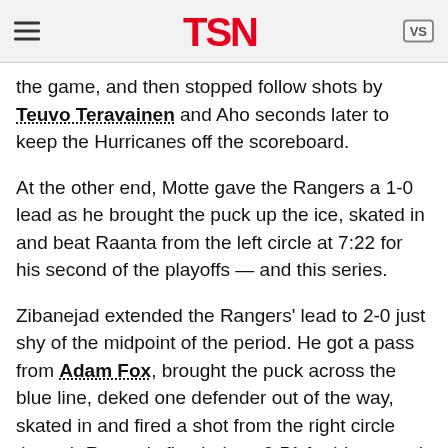TSN
the game, and then stopped follow shots by Teuvo Teravainen and Aho seconds later to keep the Hurricanes off the scoreboard.
At the other end, Motte gave the Rangers a 1-0 lead as he brought the puck up the ice, skated in and beat Raanta from the left circle at 7:22 for his second of the playoffs — and this series.
Zibanejad extended the Rangers' lead to 2-0 just shy of the midpoint of the period. He got a pass from Adam Fox, brought the puck across the blue line, deked one defender out of the way, skated in and fired a shot from the right circle through Raanta's five-hole at 9:51 for his seventh of the postseason.
It gave the Rangers a power-play goal for the fourth straight game, accomplishing the feat in the playoffs for the first time